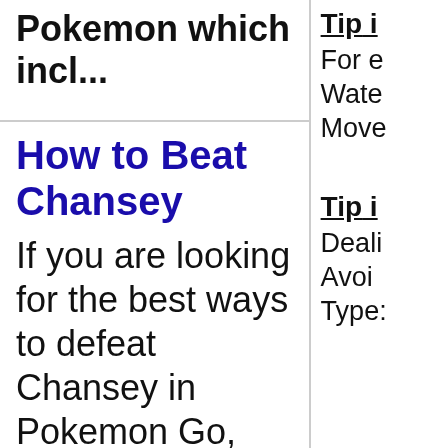Pokemon which incl...
How to Beat Chansey
If you are looking for the best ways to defeat Chansey in Pokemon Go, you've come to the right place! This guide will teach you how to...
Tip i
For e
Wate
Move
Tip i
Deali
Avoi
Type: